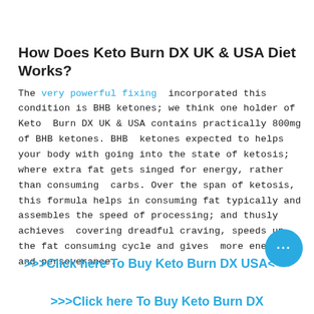How Does Keto Burn DX UK & USA Diet Works?
The very powerful fixing  incorporated this condition is BHB ketones; we think one holder of Keto  Burn DX UK & USA contains practically 800mg of BHB ketones. BHB  ketones expected to helps your body with going into the state of ketosis; where extra fat gets singed for energy, rather than consuming  carbs. Over the span of ketosis, this formula helps in consuming fat typically and assembles the speed of processing; and thusly achieves  covering dreadful craving, speeds up the fat consuming cycle and gives  more energy and perseverance.
>>>Click here To Buy Keto Burn DX USA<<<
>>>Click here To Buy Keto Burn DX